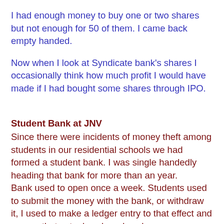I had enough money to buy one or two shares but not enough for 50 of them. I came back empty handed.
Now when I look at Syndicate bank's shares I occasionally think how much profit I would have made if I had bought some shares through IPO.
Student Bank at JNV
Since there were incidents of money theft among students in our residential schools we had formed a student bank. I was single handedly heading that bank for more than an year.
Bank used to open once a week. Students used to submit the money with the bank, or withdraw it, I used to make a ledger entry to that effect and ensure that actual cash and cash as per cashbook entry does tally and close the bank and keep the money at secure place in principal's chamber. I had plans of keeping this money with the local bank and get interest on it but